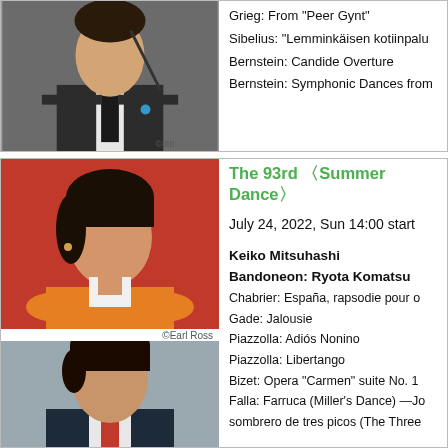[Figure (photo): Man in suit holding conductor's baton, upper body visible]
Grieg: From "Peer Gynt"
Sibelius: "Lemminkäisen kotiinpalu
Bernstein: Candide Overture
Bernstein: Symphonic Dances from
[Figure (photo): Woman with short dark hair smiling, wearing orange jacket, red background]
©Earl Ross
[Figure (photo): Young man in dark suit, dark hair]
The 93rd 〈Summer Dance〉
July 24, 2022, Sun 14:00 start
Keiko Mitsuhashi
Bandoneon: Ryota Komatsu
Chabrier: España, rapsodie pour o
Gade: Jalousie
Piazzolla: Adiós Nonino
Piazzolla: Libertango
Bizet: Opera "Carmen" suite No. 1
Falla: Farruca (Miller's Dance) —Jo
sombrero de tres picos (The Three